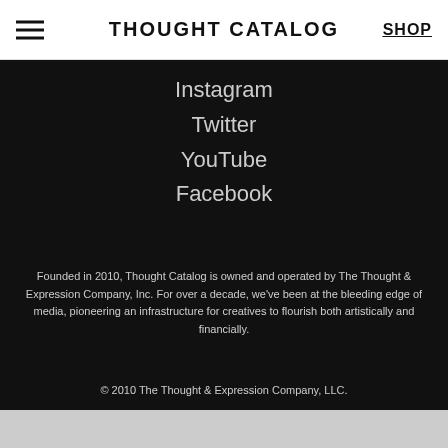THOUGHT CATALOG | SHOP
Instagram
Twitter
YouTube
Facebook
Founded in 2010, Thought Catalog is owned and operated by The Thought & Expression Company, Inc. For over a decade, we've been at the bleeding edge of media, pioneering an infrastructure for creatives to flourish both artistically and financially.
© 2010 The Thought & Expression Company, LLC.